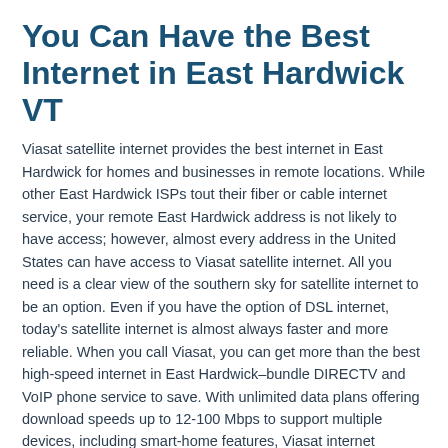You Can Have the Best Internet in East Hardwick VT
Viasat satellite internet provides the best internet in East Hardwick for homes and businesses in remote locations. While other East Hardwick ISPs tout their fiber or cable internet service, your remote East Hardwick address is not likely to have access; however, almost every address in the United States can have access to Viasat satellite internet. All you need is a clear view of the southern sky for satellite internet to be an option. Even if you have the option of DSL internet, today's satellite internet is almost always faster and more reliable. When you call Viasat, you can get more than the best high-speed internet in East Hardwick–bundle DIRECTV and VoIP phone service to save. With unlimited data plans offering download speeds up to 12-100 Mbps to support multiple devices, including smart-home features, Viasat internet delivers the best internet in East Hardwick.